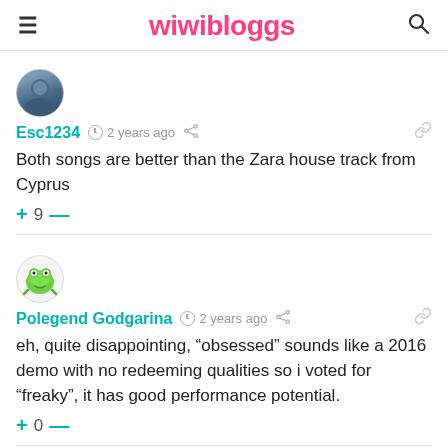wiwibloggs
Esc1234  2 years ago
Both songs are better than the Zara house track from Cyprus
+ 9 —
Polegend Godgarina  2 years ago
eh, quite disappointing, “obsessed” sounds like a 2016 demo with no redeeming qualities so i voted for “freaky”, it has good performance potential.
+ 0 —
Tuvia  2 years ago